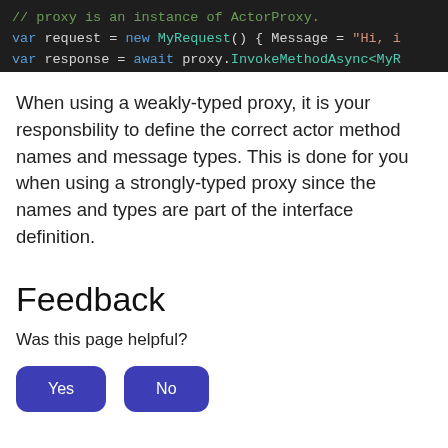[Figure (screenshot): Dark-themed code editor screenshot showing lines of C# code: '// proxy is an instance of ActorProxy.', 'var request = new MyRequest() { Message = "Hi, i', 'var response = await proxy.InvokeMethodAsync<MyR']
When using a weakly-typed proxy, it is your responsbility to define the correct actor method names and message types. This is done for you when using a strongly-typed proxy since the names and types are part of the interface definition.
Feedback
Was this page helpful?
[Figure (other): Two rounded buttons labeled 'Yes' and 'No' in dark blue/indigo color]